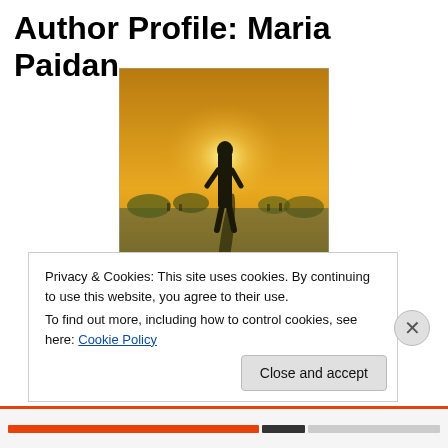Author Profile: Maria Paidan
[Figure (photo): Book cover for 'Out of Nowhere' showing a lone figure standing in a field at golden hour with long shadow, text reading OUT OF NOWHERE at bottom]
Privacy & Cookies: This site uses cookies. By continuing to use this website, you agree to their use.
To find out more, including how to control cookies, see here: Cookie Policy